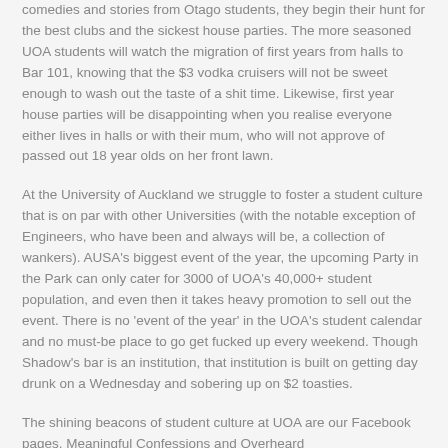comedies and stories from Otago students, they begin their hunt for the best clubs and the sickest house parties. The more seasoned UOA students will watch the migration of first years from halls to Bar 101, knowing that the $3 vodka cruisers will not be sweet enough to wash out the taste of a shit time. Likewise, first year house parties will be disappointing when you realise everyone either lives in halls or with their mum, who will not approve of passed out 18 year olds on her front lawn.
At the University of Auckland we struggle to foster a student culture that is on par with other Universities (with the notable exception of Engineers, who have been and always will be, a collection of wankers). AUSA's biggest event of the year, the upcoming Party in the Park can only cater for 3000 of UOA's 40,000+ student population, and even then it takes heavy promotion to sell out the event. There is no 'event of the year' in the UOA's student calendar and no must-be place to go get fucked up every weekend. Though Shadow's bar is an institution, that institution is built on getting day drunk on a Wednesday and sobering up on $2 toasties.
The shining beacons of student culture at UOA are our Facebook pages. Meaningful Confessions and Overheard